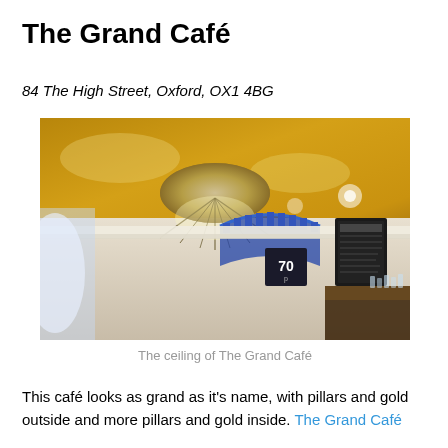The Grand Café
84 The High Street, Oxford, OX1 4BG
[Figure (photo): Interior photo of The Grand Café showing the ceiling with a chandelier, gold ceiling, blue decorative arch, and menu boards on the wall.]
The ceiling of The Grand Café
This café looks as grand as it's name, with pillars and gold outside and more pillars and gold inside. The Grand Café